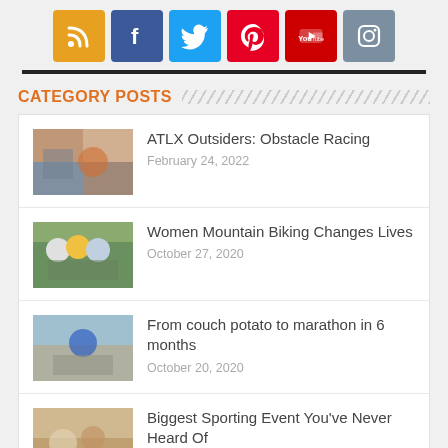[Figure (infographic): Row of 6 social media icon buttons: RSS (orange), Facebook (blue), Twitter (light blue), Pinterest (red), YouTube (red), Instagram (gray-blue)]
ATLX Outsiders: Obstacle Racing — February 24, 2022
Women Mountain Biking Changes Lives — October 27, 2020
From couch potato to marathon in 6 months — October 20, 2020
Biggest Sporting Event You've Never Heard Of — October 1, 2020
The Training of Elite Athletes — December 15, 2018